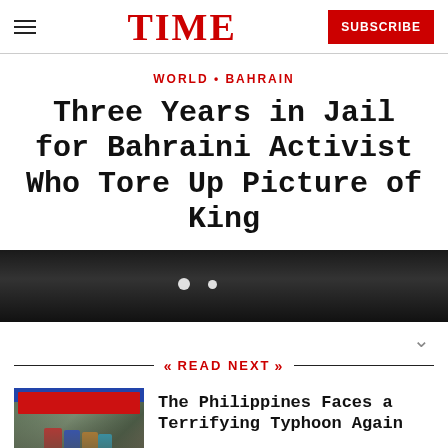TIME
WORLD • BAHRAIN
Three Years in Jail for Bahraini Activist Who Tore Up Picture of King
[Figure (photo): Dark photograph showing bokeh lights, top of article image]
READ NEXT
[Figure (photo): Thumbnail photo of people in colorful clothing at a market stall in the Philippines]
The Philippines Faces a Terrifying Typhoon Again